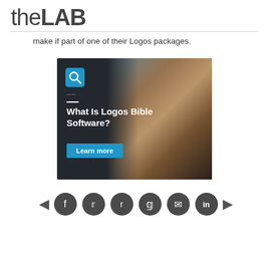theLAB
make if part of one of their Logos packages.
[Figure (photo): Advertisement for Logos Bible Software showing a man smiling and working on a laptop in a dark setting, with text 'What Is Logos Bible Software?' and a blue 'Learn more' button, plus a magnifying glass icon at the top.]
Social sharing icons: Facebook, Twitter, Reddit, Pinterest, Email, LinkedIn with navigation arrows